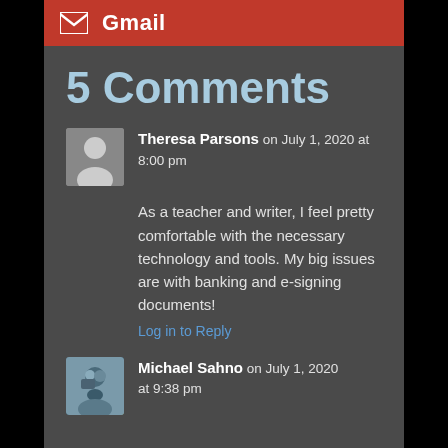[Figure (logo): Gmail red button bar with envelope icon and 'Gmail' text in white]
5 Comments
Theresa Parsons on July 1, 2020 at 8:00 pm
As a teacher and writer, I feel pretty comfortable with the necessary technology and tools. My big issues are with banking and e-signing documents!
Log in to Reply
Michael Sahno on July 1, 2020 at 9:38 pm